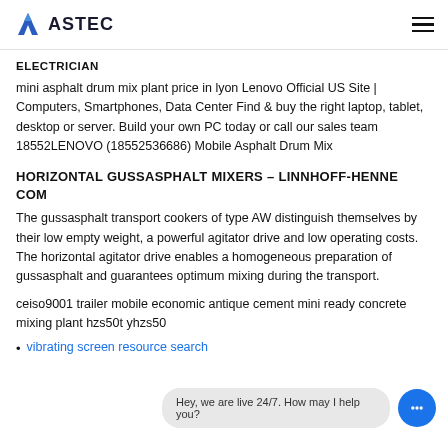ASTEC
ELECTRICIAN
mini asphalt drum mix plant price in lyon Lenovo Official US Site | Computers, Smartphones, Data Center Find & buy the right laptop, tablet, desktop or server. Build your own PC today or call our sales team 18552LENOVO (18552536686) Mobile Asphalt Drum Mix
HORIZONTAL GUSSASPHALT MIXERS – LINNHOFF-HENNE COM
The gussasphalt transport cookers of type AW distinguish themselves by their low empty weight, a powerful agitator drive and low operating costs. The horizontal agitator drive enables a homogeneous preparation of gussasphalt and guarantees optimum mixing during the transport.
ceiso9001 trailer mobile economic antique cement mini ready concrete mixing plant hzs50t yhzs50
vibrating screen resource search